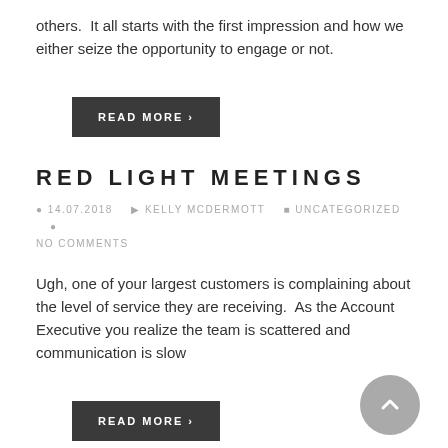others.  It all starts with the first impression and how we either seize the opportunity to engage or not.
READ MORE ›
RED LIGHT MEETINGS
14.07.2018   KELLY MCDERMOTT   UNCATEGORIZED   NO COMMENTS
Ugh, one of your largest customers is complaining about the level of service they are receiving.  As the Account Executive you realize the team is scattered and communication is slow
READ MORE ›
HANDLING STRESS